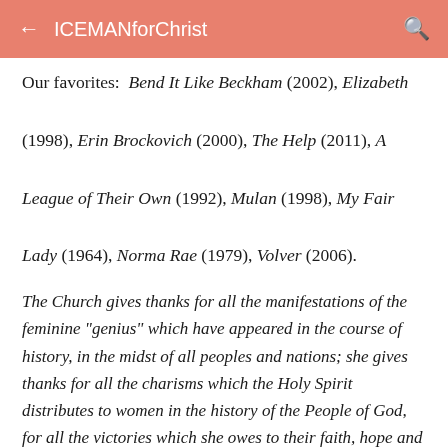ICEMANforChrist
Our favorites:  Bend It Like Beckham (2002), Elizabeth (1998), Erin Brockovich (2000), The Help (2011), A League of Their Own (1992), Mulan (1998), My Fair Lady (1964), Norma Rae (1979), Volver (2006).
The Church gives thanks for all the manifestations of the feminine "genius" which have appeared in the course of history, in the midst of all peoples and nations; she gives thanks for all the charisms which the Holy Spirit distributes to women in the history of the People of God, for all the victories which she owes to their faith, hope and charity: she gives thanks for all the fruits of feminine holiness.-John Paul II, Apostolic Letter
Preparing for Battle[6] Know Your Weapons-fasting